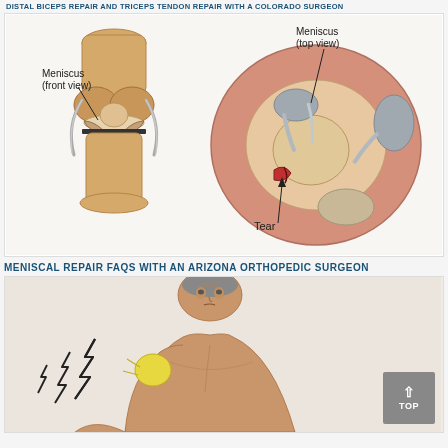DISTAL BICEPS REPAIR AND TRICEPS TENDON REPAIR WITH A COLORADO SURGEON
[Figure (illustration): Medical illustration showing two views of the knee meniscus: front view of the knee joint with meniscus labeled, and top view of the meniscus showing a tear labeled 'Tear'.]
MENISCAL REPAIR FAQS WITH AN ARIZONA ORTHOPEDIC SURGEON
[Figure (illustration): Medical illustration of an elderly shirtless man experiencing shoulder/arm pain, shown with lightning bolt pain indicators near the shoulder and arm area.]